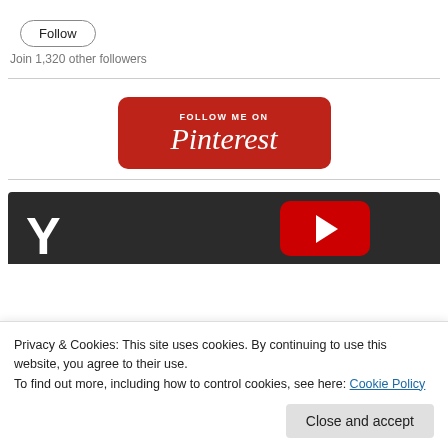[Figure (other): Follow button — oval outlined button with text 'Follow']
Join 1,320 other followers
[Figure (logo): Pinterest 'Follow Me On Pinterest' badge — red rounded rectangle with white script text]
[Figure (screenshot): Partial YouTube banner — dark background with large white Y letter and red YouTube logo icon]
Privacy & Cookies: This site uses cookies. By continuing to use this website, you agree to their use.
To find out more, including how to control cookies, see here: Cookie Policy
Close and accept